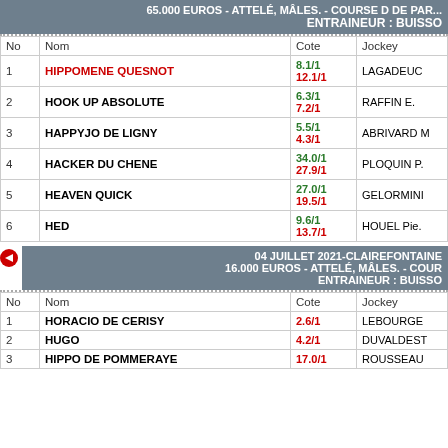65.000 EUROS - ATTELÉ, MÂLES. - COURSE DE DEPART... ENTRAINEUR : BUISSON
| No | Nom | Cote | Jockey |
| --- | --- | --- | --- |
| 1 | HIPPOMENE QUESNOT | 8.1/1
12.1/1 | LAGADEUC |
| 2 | HOOK UP ABSOLUTE | 6.3/1
7.2/1 | RAFFIN E. |
| 3 | HAPPYJO DE LIGNY | 5.5/1
4.3/1 | ABRIVARD M |
| 4 | HACKER DU CHENE | 34.0/1
27.9/1 | PLOQUIN P. |
| 5 | HEAVEN QUICK | 27.0/1
19.5/1 | GELORMINI |
| 6 | HED | 9.6/1
13.7/1 | HOUEL Pie. |
04 JUILLET 2021-CLAIREFONTAINE
16.000 EUROS - ATTELÉ, MÂLES. - COUR
ENTRAINEUR : BUISSON
| No | Nom | Cote | Jockey |
| --- | --- | --- | --- |
| 1 | HORACIO DE CERISY | 2.6/1 | LEBOURGE |
| 2 | HUGO | 4.2/1 | DUVALDEST |
| 3 | HIPPO DE POMMERAYE | 17.0/1 | ROUSSEAU |